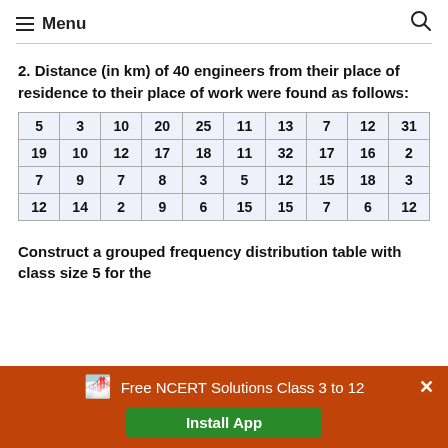Menu
2. Distance (in km) of 40 engineers from their place of residence to their place of work were found as follows:
| 5 | 3 | 10 | 20 | 25 | 11 | 13 | 7 | 12 | 31 |
| 19 | 10 | 12 | 17 | 18 | 11 | 32 | 17 | 16 | 2 |
| 7 | 9 | 7 | 8 | 3 | 5 | 12 | 15 | 18 | 3 |
| 12 | 14 | 2 | 9 | 6 | 15 | 15 | 7 | 6 | 12 |
Construct a grouped frequency distribution table with class size 5 for the